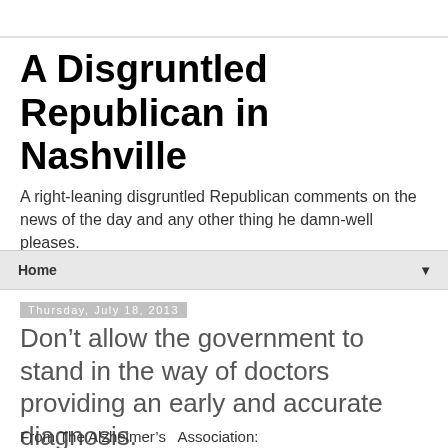A Disgruntled Republican in Nashville
A right-leaning disgruntled Republican comments on the news of the day and any other thing he damn-well pleases.
Home
Thursday, July 18, 2013
Don’t allow the government to stand in the way of doctors providing an early and accurate diagnosis.
From The Alzheimer’s  Association: